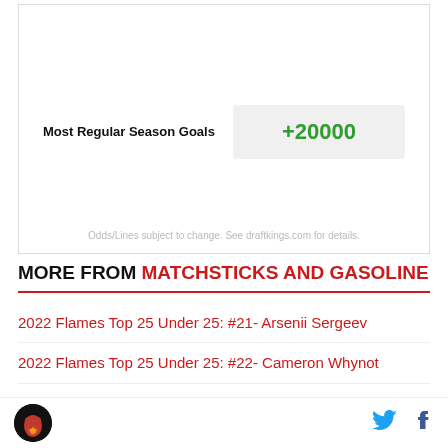|  |  |
| --- | --- |
| Most Regular Season Goals | +20000 |
Odds/Lines subject to change. See draftkings.com for details.
MORE FROM MATCHSTICKS AND GASOLINE
2022 Flames Top 25 Under 25: #21- Arsenii Sergeev
2022 Flames Top 25 Under 25: #22- Cameron Whynot
[Figure (logo): Matchsticks and Gasoline logo - circular flame emblem on dark background]
[Figure (logo): Twitter bird icon in blue]
[Figure (logo): Facebook f icon in dark blue]